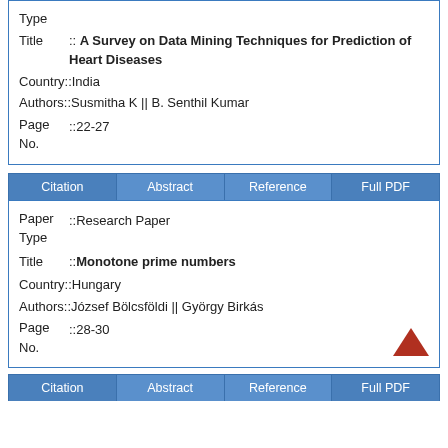| Type |  |
| Title | A Survey on Data Mining Techniques for Prediction of Heart Diseases |
| Country | India |
| Authors | Susmitha K || B. Senthil Kumar |
| Page No. | 22-27 |
| Paper Type | Research Paper |
| Title | Monotone prime numbers |
| Country | Hungary |
| Authors | József Bölcsföldi || György Birkás |
| Page No. | 28-30 |